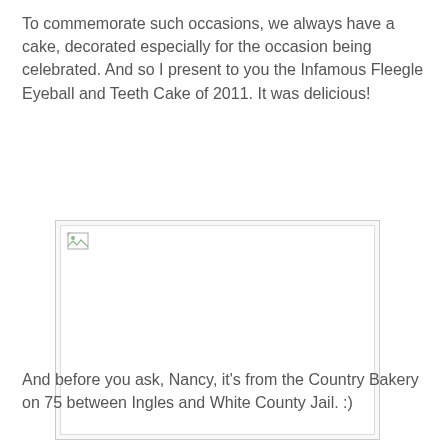To commemorate such occasions, we always have a cake, decorated especially for the occasion being celebrated. And so I present to you the Infamous Fleegle Eyeball and Teeth Cake of 2011. It was delicious!
[Figure (photo): A broken/missing image placeholder showing a small broken image icon in the top-left corner of a white rectangular area with a light gray border.]
And before you ask, Nancy, it's from the Country Bakery on 75 between Ingles and White County Jail. :)